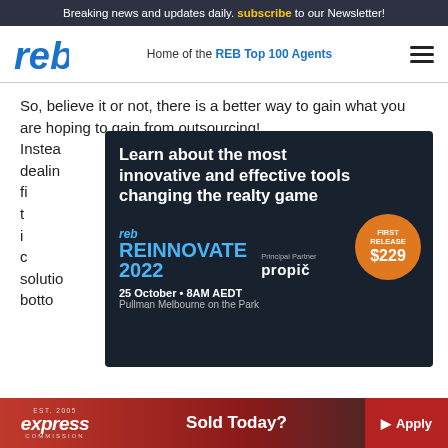Breaking news and updates daily. subscribe to our Newsletter!
[Figure (logo): REB logo - Home of the REB Top 100 Agents]
So, believe it or not, there is a better way to gain what you are hoping to gain from outsourcing! Instead of dealing with short-term fixes, want to seize the opportunity from then integrating your core solution that can impact results and bottom line.
[Figure (infographic): REB Reinnovate 2022 advertisement. Learn about the most innovative and effective tools changing the realty game. Principal Partner: propiq. First Release $229. 25 October • 8AM AEDT. Pullman Melbourne on the Park.]
Jo-Anne client (CRM TBC) is a client intelligence
[Figure (infographic): Express Commission banner ad. Est. 2005. Sold Today? Apply button.]